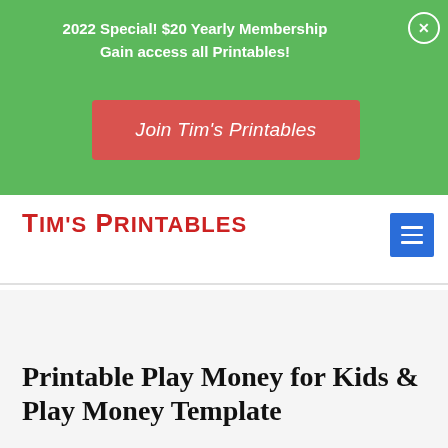2022 Special! $20 Yearly Membership
Gain access all Printables!
Join Tim's Printables
[Figure (logo): Tim's Printables logo in red chunky font]
Printable Play Money for Kids & Play Money Template